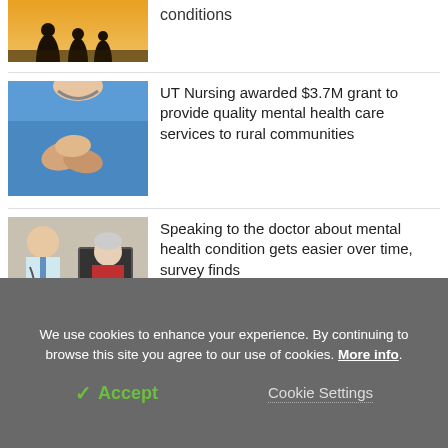[Figure (photo): Partial view of silhouetted figures in a field at sunset — top portion cropped]
conditions
[Figure (photo): Healthcare worker in blue scrubs holding patient's hands]
UT Nursing awarded $3.7M grant to provide quality mental health care services to rural communities
[Figure (photo): Doctor with stethoscope consulting with elderly female patient using a tablet, computer in background]
Speaking to the doctor about mental health condition gets easier over time, survey finds
We use cookies to enhance your experience. By continuing to browse this site you agree to our use of cookies. More info.
✓ Accept
Cookie Settings